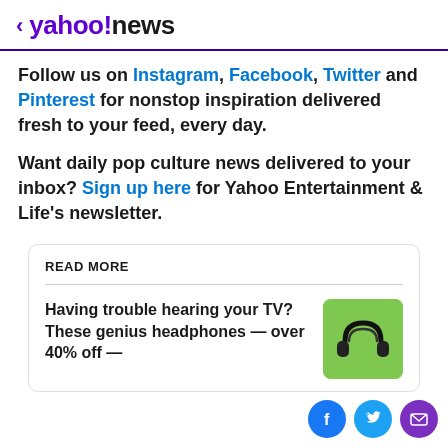< yahoo!news
Follow us on Instagram, Facebook, Twitter and Pinterest for nonstop inspiration delivered fresh to your feed, every day.
Want daily pop culture news delivered to your inbox? Sign up here for Yahoo Entertainment & Life's newsletter.
READ MORE
Having trouble hearing your TV? These genius headphones — over 40% off —
[Figure (illustration): Headphones product image on green background]